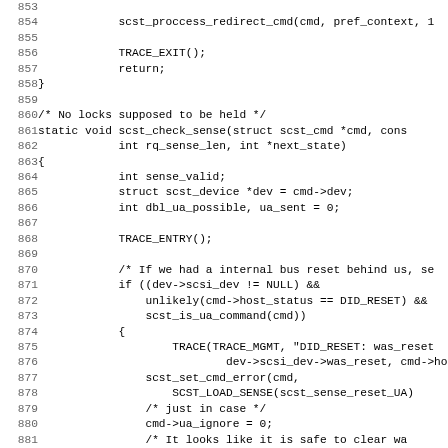[Figure (other): Source code listing in C, lines 853-884, showing a code block with scst_proccess_redirect_cmd, TRACE_EXIT, return, closing brace, comment about no locks, function scst_check_sense definition, and inner logic including TRACE_ENTRY, bus reset handling, TRACE(TRACE_MGMT, ...), scst_set_cmd_error, cmd->ua_ignore = 0, dev->scsi_dev->was_reset = 0, smp_mb(), closing brace.]